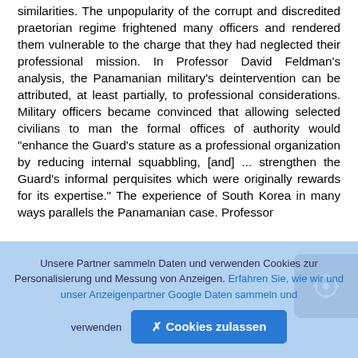similarities. The unpopularity of the corrupt and discredited praetorian regime frightened many officers and rendered them vulnerable to the charge that they had neglected their professional mission. In Professor David Feldman's analysis, the Panamanian military's deintervention can be attributed, at least partially, to professional considerations. Military officers became convinced that allowing selected civilians to man the formal offices of authority would "enhance the Guard's stature as a professional organization by reducing internal squabbling, [and] ... strengthen the Guard's informal perquisites which were originally rewards for its expertise." The experience of South Korea in many ways parallels the Panamanian case. Professor
Unsere Partner sammeln Daten und verwenden Cookies zur Personalisierung und Messung von Anzeigen. Erfahren Sie, wie wir und unser Anzeigenpartner Google Daten sammeln und verwenden